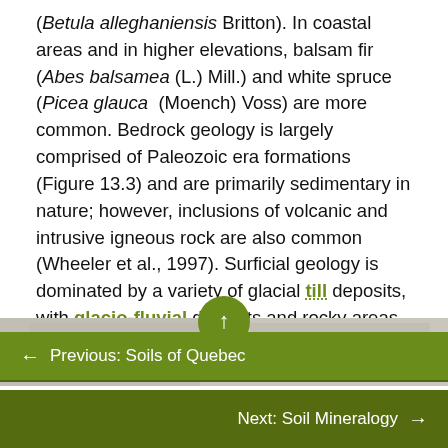(Betula alleghaniensis Britton). In coastal areas and in higher elevations, balsam fir (Abes balsamea (L.) Mill.) and white spruce (Picea glauca (Moench) Voss) are more common. Bedrock geology is largely comprised of Paleozoic era formations (Figure 13.3) and are primarily sedimentary in nature; however, inclusions of volcanic and intrusive igneous rock are also common (Wheeler et al., 1997). Surficial geology is dominated by a variety of glacial till deposits, with glacio-fluvial deposits and rocky areas locally important (Figure 13.3).
[Figure (map): Partial view of a map strip showing elevation and land cover legends. Elevation legend shows 0-100 range. Land cover legend shows Coniferous Forest.]
← Previous: Soils of Quebec
Next: Soil Mineralogy →